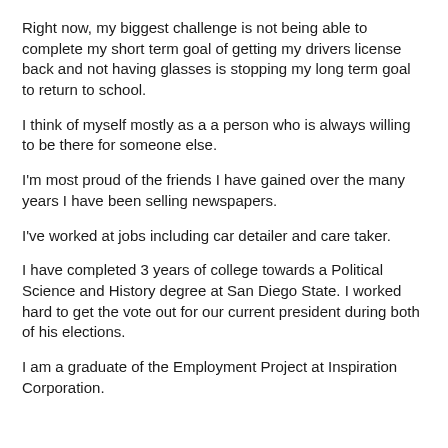Right now, my biggest challenge is not being able to complete my short term goal of getting my drivers license back and not having glasses is stopping my long term goal to return to school.
I think of myself mostly as a a person who is always willing to be there for someone else.
I'm most proud of the friends I have gained over the many years I have been selling newspapers.
I've worked at jobs including car detailer and care taker.
I have completed 3 years of college towards a Political Science and History degree at San Diego State. I worked hard to get the vote out for our current president during both of his elections.
I am a graduate of the Employment Project at Inspiration Corporation.